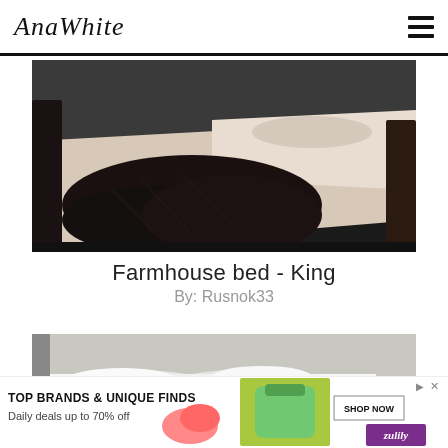AnaWhite
[Figure (photo): A farmhouse king bed with dark faux fur blanket draped over a white bedspread, photographed from the foot of the bed in a dim bedroom setting]
Farmhouse bed - King
By: Rusnok33
[Figure (photo): A white platform bed frame with a white mattress and white sheets, photographed from the side in a bedroom]
TOP BRANDS & UNIQUE FINDS
Daily deals up to 70% off